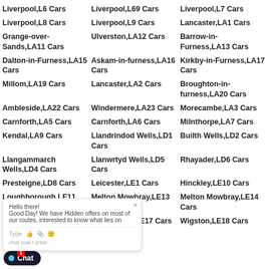Liverpool,L6 Cars
Liverpool,L69 Cars
Liverpool,L7 Cars
Liverpool,L8 Cars
Liverpool,L9 Cars
Lancaster,LA1 Cars
Grange-over-Sands,LA11 Cars
Ulverston,LA12 Cars
Barrow-in-Furness,LA13 Cars
Dalton-in-Furness,LA15 Cars
Askam-in-furness,LA16 Cars
Kirkby-in-Furness,LA17 Cars
Millom,LA19 Cars
Lancaster,LA2 Cars
Broughton-in-furness,LA20 Cars
Ambleside,LA22 Cars
Windermere,LA23 Cars
Morecambe,LA3 Cars
Carnforth,LA5 Cars
Carnforth,LA6 Cars
Milnthorpe,LA7 Cars
Kendal,LA9 Cars
Llandrindod Wells,LD1 Cars
Builth Wells,LD2 Cars
Llangammarch Wells,LD4 Cars
Llanwrtyd Wells,LD5 Cars
Rhayader,LD6 Cars
Presteigne,LD8 Cars
Leicester,LE1 Cars
Hinckley,LE10 Cars
Loughborough,LE11 Cars
Melton Mowbray,LE13 Cars
Melton Mowbray,LE14 Cars
Market Harborough,LE16 Cars
Lutterworth,LE17 Cars
Wigston,LE18 Cars